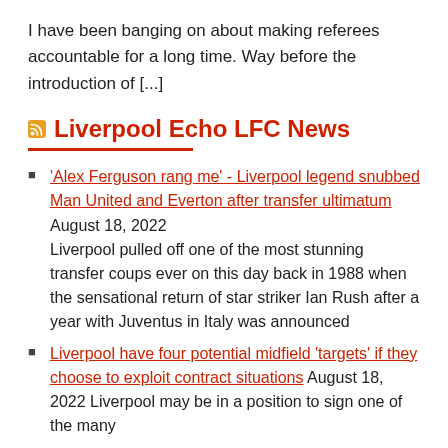I have been banging on about making referees accountable for a long time. Way before the introduction of [...]
Liverpool Echo LFC News
'Alex Ferguson rang me' - Liverpool legend snubbed Man United and Everton after transfer ultimatum August 18, 2022 Liverpool pulled off one of the most stunning transfer coups ever on this day back in 1988 when the sensational return of star striker Ian Rush after a year with Juventus in Italy was announced
Liverpool have four potential midfield 'targets' if they choose to exploit contract situations August 18, 2022 Liverpool may be in a position to sign one of the many